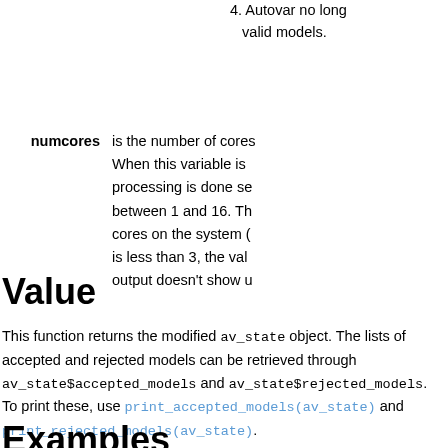4. Autovar no longer valid models.
numcores is the number of cores When this variable is processing is done se between 1 and 16. Th cores on the system ( is less than 3, the val output doesn't show u
Value
This function returns the modified av_state object. The lists of accepted and rejected models can be retrieved through av_state$accepted_models and av_state$rejected_models. To print these, use print_accepted_models(av_state) and print_rejected_models(av_state).
Examples